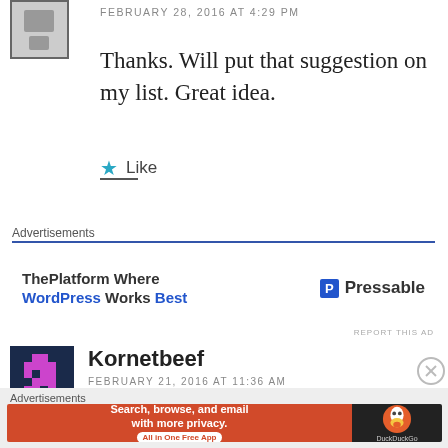FEBRUARY 28, 2016 AT 4:29 PM
Thanks. Will put that suggestion on my list. Great idea.
Like
Advertisements
[Figure (infographic): ThePlatform Where WordPress Works Best advertisement with Pressable logo]
REPORT THIS AD
Kornetbeef
FEBRUARY 21, 2016 AT 11:36 AM
Advertisements
[Figure (infographic): DuckDuckGo advertisement: Search, browse, and email with more privacy. All in One Free App]